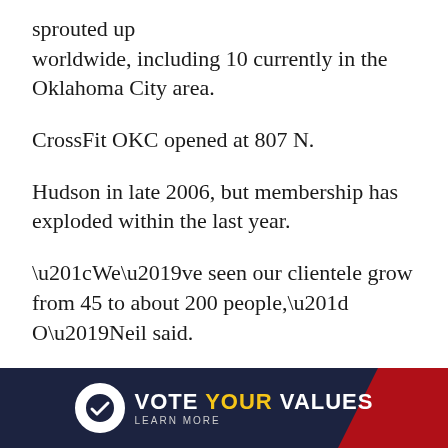sprouted up worldwide, including 10 currently in the Oklahoma City area.
CrossFit OKC opened at 807 N.
Hudson in late 2006, but membership has exploded within the last year.
“We’ve seen our clientele grow from 45 to about 200 people,” O’Neil said.
Once an Air Force rugby player, Brice Collier co-owns Koda CrossFit with a former golf pro, Jared Muse, at 6015 N. Harvey. They
[Figure (infographic): Vote Your Values advertisement banner with dark navy background, red accents, circular checkmark logo, and text reading VOTE YOUR VALUES LEARN MORE in white and yellow.]